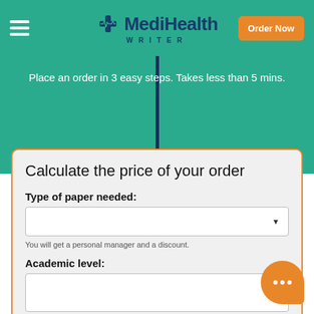[Figure (logo): MediHealth Writer logo with cross/heartbeat icon, teal background, hamburger menu, and orange Order Now button]
Place an order in 3 easy steps. Takes less than 5 mins.
Calculate the price of your order
Type of paper needed:
You will get a personal manager and a discount.
Academic level:
Deadline: